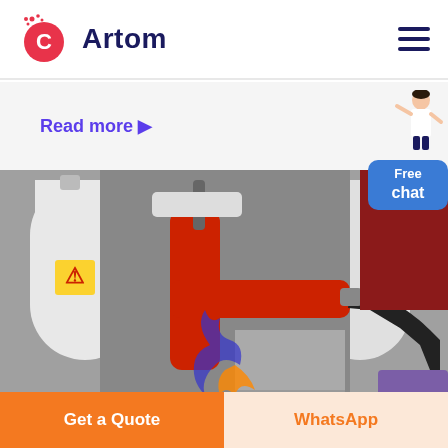[Figure (logo): Artom company logo with orange-red C icon and dark navy Artom text]
Read more ▶
[Figure (photo): Industrial gas equipment: red cylinder valve, hoses, cylindrical tanks in a machinery enclosure]
[Figure (illustration): Customer service representative figure with Free chat bubble widget]
Get a Quote
WhatsApp